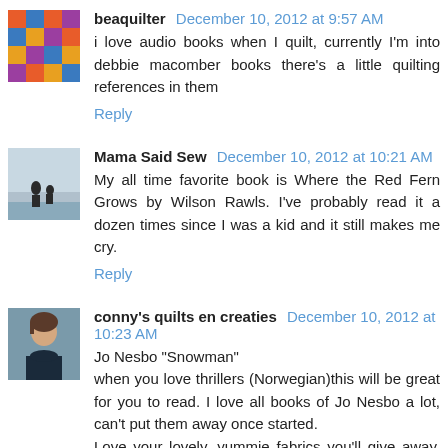beaquilter December 10, 2012 at 9:57 AM
i love audio books when I quilt, currently I'm into debbie macomber books there's a little quilting references in them
Reply
Mama Said Sew December 10, 2012 at 10:21 AM
My all time favorite book is Where the Red Fern Grows by Wilson Rawls. I've probably read it a dozen times since I was a kid and it still makes me cry.
Reply
conny's quilts en creaties December 10, 2012 at 10:23 AM
Jo Nesbo "Snowman"
when you love thrillers (Norwegian)this will be great for you to read. I love all books of Jo Nesbo a lot, can't put them away once started.
Love your lovely, yummie fabrics you'll give away. Thanks for the opportunity it!